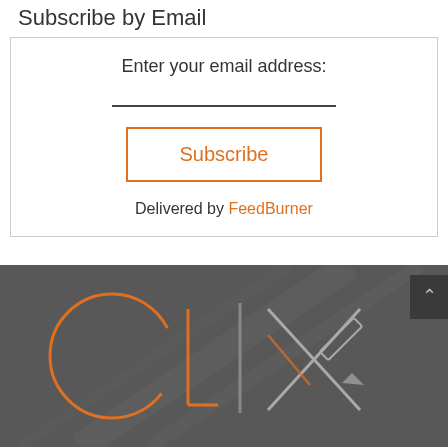Subscribe by Email
[Figure (screenshot): Email subscription form with 'Enter your email address:' label, an underline input field, a Subscribe button with orange border, and 'Delivered by FeedBurner' text link]
[Figure (logo): CLIX logo in orange and grey on dark grey background with diagonal line design elements]